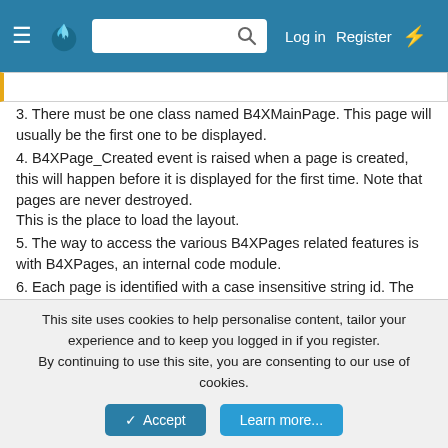Log in  Register
3. There must be one class named B4XMainPage. This page will usually be the first one to be displayed.
4. B4XPage_Created event is raised when a page is created, this will happen before it is displayed for the first time. Note that pages are never destroyed.
This is the place to load the layout.
5. The way to access the various B4XPages related features is with B4XPages, an internal code module.
6. Each page is identified with a case insensitive string id. The main page id is "MainPage".
7. Example of adding a page:
[Figure (screenshot): Code block header showing 'B4X:' label in orange with a copy icon on the right, on a white background with orange left border]
This site uses cookies to help personalise content, tailor your experience and to keep you logged in if you register.
By continuing to use this site, you are consenting to our use of cookies.